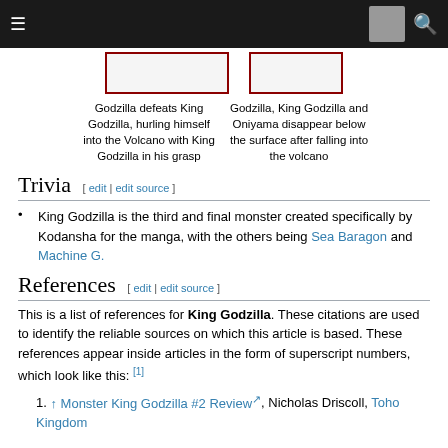[ hamburger menu ] [ image ] [ search ]
[Figure (illustration): Two placeholder image boxes with dark red borders representing manga panels]
Godzilla defeats King Godzilla, hurling himself into the Volcano with King Godzilla in his grasp | Godzilla, King Godzilla and Oniyama disappear below the surface after falling into the volcano
Trivia [ edit | edit source ]
King Godzilla is the third and final monster created specifically by Kodansha for the manga, with the others being Sea Baragon and Machine G.
References [ edit | edit source ]
This is a list of references for King Godzilla. These citations are used to identify the reliable sources on which this article is based. These references appear inside articles in the form of superscript numbers, which look like this: [1]
↑ Monster King Godzilla #2 Review, Nicholas Driscoll, Toho Kingdom